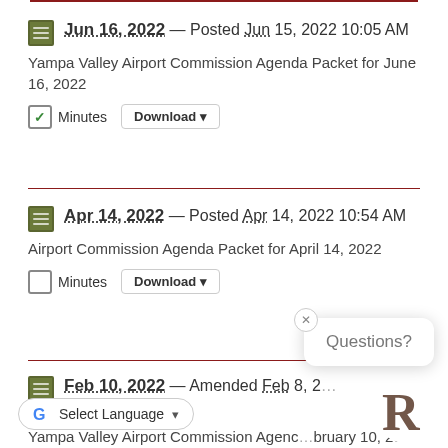Jun 16, 2022 — Posted Jun 15, 2022 10:05 AM
Yampa Valley Airport Commission Agenda Packet for June 16, 2022
Minutes  Download
Apr 14, 2022 — Posted Apr 14, 2022 10:54 AM
Airport Commission Agenda Packet for April 14, 2022
Minutes  Download
Feb 10, 2022 — Amended Feb 8, 2... PM
Yampa Valley Airport Commission Agenc... bruary 10, 2022